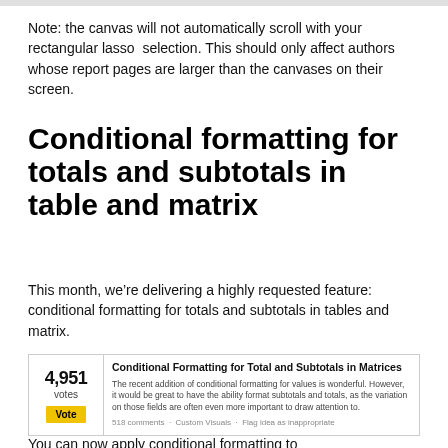Note: the canvas will not automatically scroll with your rectangular lasso selection. This should only affect authors whose report pages are larger than the canvases on their screen.
Conditional formatting for totals and subtotals in table and matrix
This month, we’re delivering a highly requested feature: conditional formatting for totals and subtotals in tables and matrix.
[Figure (screenshot): Community feedback card showing 4,951 votes for 'Conditional Formatting for Total and Subtotals in Matrices' with a yellow Vote button and description text: 'The recent addition of conditional formatting for values is wonderful. However, it would be great to have the ability format subtotals and totals, as the variation on those fields are often even more important to draw attention to.' Footer: '518 comments · Custom Visuals · Flag idea as inappropriate']
You can now apply conditional formatting to